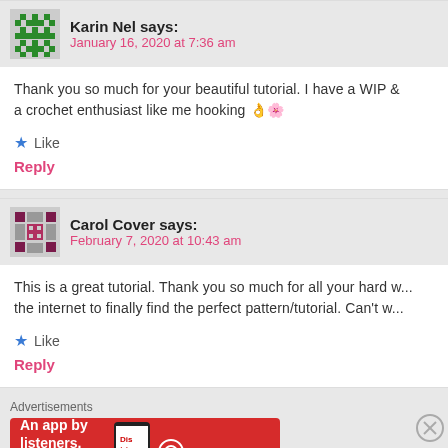Karin Nel says:
January 16, 2020 at 7:36 am
Thank you so much for your beautiful tutorial. I have a WIP & a crochet enthusiast like me hooking 👌🌸
★ Like
Reply
Carol Cover says:
February 7, 2020 at 10:43 am
This is a great tutorial. Thank you so much for all your hard w... the internet to finally find the perfect pattern/tutorial. Can't w...
★ Like
Reply
Advertisements
[Figure (other): Pocket Casts advertisement banner: red background with phone image and text 'An app by listeners, for listeners.']